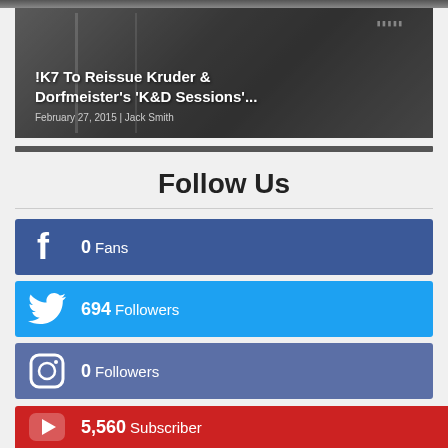[Figure (photo): Partial top image strip, dark gray]
[Figure (photo): Article card with background photo of Kruder & Dorfmeister K&D Sessions album, overlaid with article title and metadata]
!K7 To Reissue Kruder & Dorfmeister’s ‘K&D Sessions’...
February 27, 2015 | Jack Smith
Follow Us
0 Fans
694 Followers
0 Followers
5,560 Subscriber